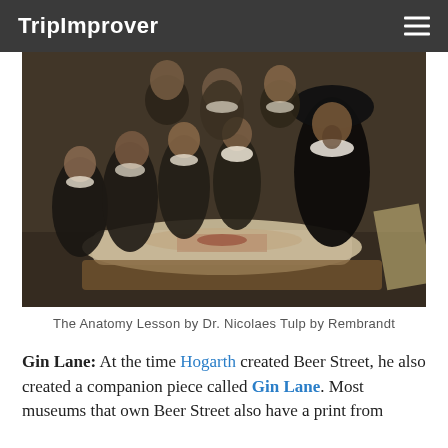TripImprover
[Figure (photo): Rembrandt's painting 'The Anatomy Lesson of Dr. Nicolaes Tulp' showing a surgeon demonstrating a dissection to a group of observers in 17th century Dutch attire]
The Anatomy Lesson by Dr. Nicolaes Tulp by Rembrandt
Gin Lane: At the time Hogarth created Beer Street, he also created a companion piece called Gin Lane. Most museums that own Beer Street also have a print from